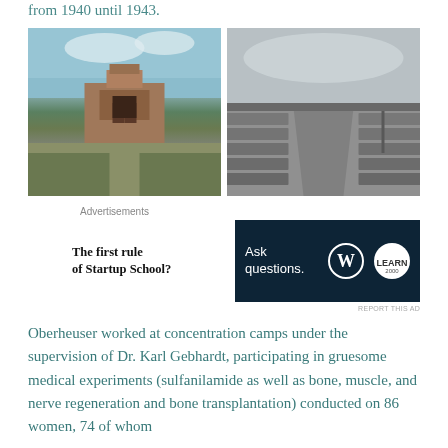from 1940 until 1943.
[Figure (photo): Two historical photographs side by side: left is a color photo of the Auschwitz concentration camp gate with railway tracks leading to it; right is a black-and-white photo of barracks/structures at a concentration camp.]
Advertisements
[Figure (other): Advertisement area with two ads: left ad reads 'The first rule of Startup School?' in bold serif; right ad shows 'Ask questions.' with WordPress and another logo on dark navy background.]
REPORT THIS AD
Oberheuser worked at concentration camps under the supervision of Dr. Karl Gebhardt, participating in gruesome medical experiments (sulfanilamide as well as bone, muscle, and nerve regeneration and bone transplantation) conducted on 86 women, 74 of whom